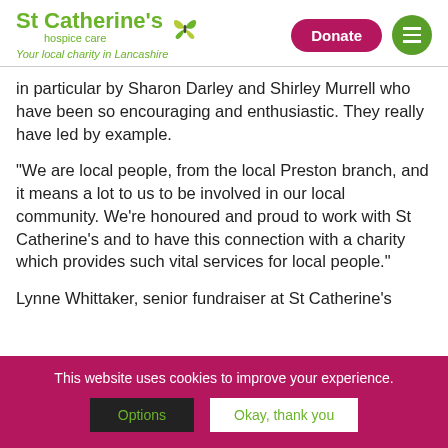[Figure (logo): St Catherine's Hospice Care logo with green butterfly and text, plus 'Your local charity in Lancashire' tagline]
in particular by Sharon Darley and Shirley Murrell who have been so encouraging and enthusiastic. They really have led by example.
“We are local people, from the local Preston branch, and it means a lot to us to be involved in our local community. We’re honoured and proud to work with St Catherine’s and to have this connection with a charity which provides such vital services for local people.”
Lynne Whittaker, senior fundraiser at St Catherine’s
This website uses cookies to improve your experience.